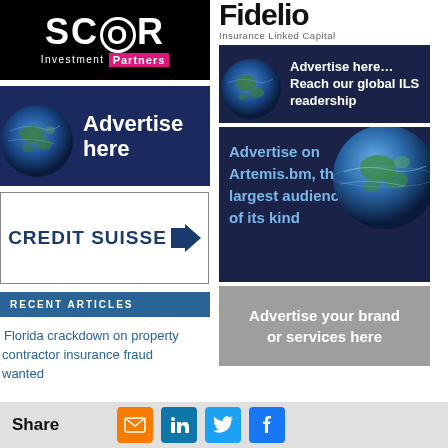[Figure (logo): SCOR Investment Partners logo on black background]
[Figure (illustration): Advertise here banner with globe image on dark blue background]
[Figure (logo): Credit Suisse logo with arrow]
RECENT ARTICLES
Florida crackdown on property contractor insurance fraud wanted
[Figure (logo): Fidelio Insurance Linked Capital logo]
[Figure (illustration): Advertise here - Reach our global ILS readership, dark blue background with globe]
[Figure (illustration): Advertise on Artemis.bm, the largest audience of its kind - dark blue background with globe]
[Figure (illustration): Advertise your brand or services here - grey background]
Share